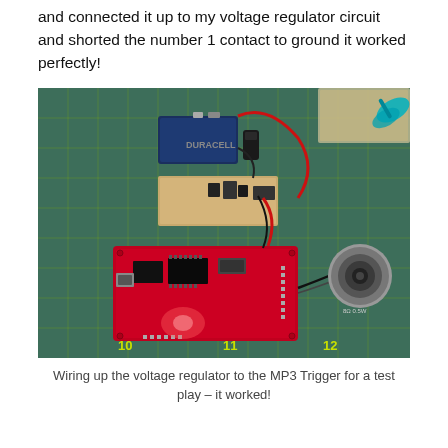and connected it up to my voltage regulator circuit and shorted the number 1 contact to ground it worked perfectly!
[Figure (photo): A red MP3 Trigger circuit board connected to a voltage regulator circuit and a 9V battery on a green cutting mat. A small speaker is visible on the right side. Red and black wires connect the components.]
Wiring up the voltage regulator to the MP3 Trigger for a test play – it worked!